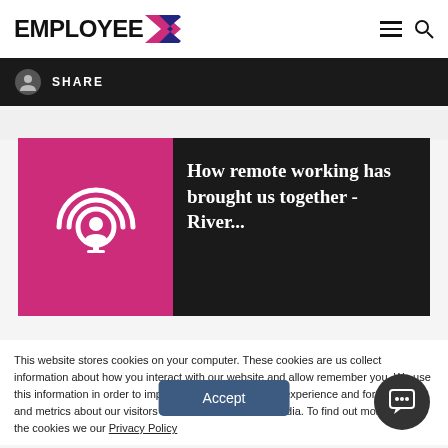EMPLOYEE
[Figure (screenshot): Share bar with icon and SHARE text on dark background]
[Figure (illustration): Card with podcast icon on magenta background and title text 'How remote working has brought us together - River...' on dark background]
This website stores cookies on your computer. These cookies are us collect information about how you interact with our website and allow remember you. We use this information in order to improve and custo browsing experience and for analytics and metrics about our visitors this website and other media. To find out more about the cookies we our Privacy Policy
Accept